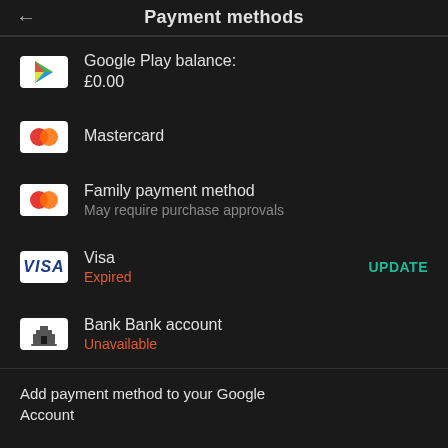Payment methods
Google Play balance: £0.00
Mastercard
Family payment method
May require purchase approvals
Visa
Expired
UPDATE
Bank Bank account
Unavailable
Add payment method to your Google Account